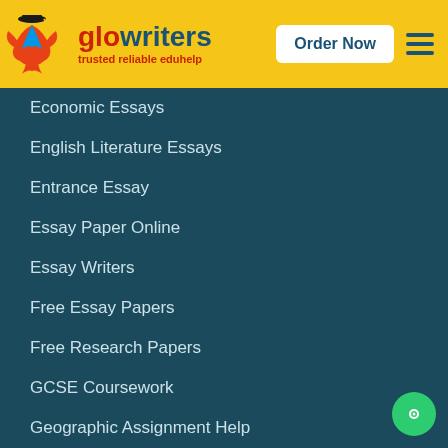[Figure (logo): GloWriters logo with mascot figure, 'glowriters' text in red and dark blue, tagline 'trusted reliable eduhelp']
Order Now
Economic Essays
English Literature Essays
Entrance Essay
Essay Paper Online
Essay Writers
Free Essay Papers
Free Research Papers
GCSE Coursework
Geographic Assignment Help
Good Essay Writing
Graduate Papers